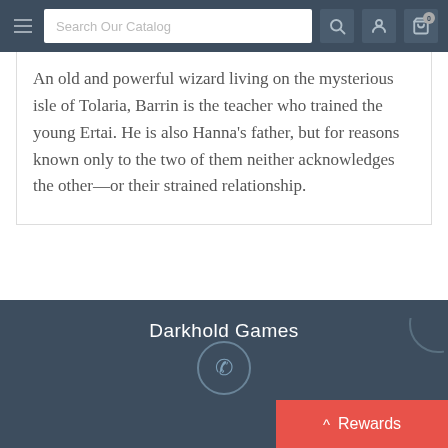Search Our Catalog
An old and powerful wizard living on the mysterious isle of Tolaria, Barrin is the teacher who trained the young Ertai. He is also Hanna's father, but for reasons known only to the two of them neither acknowledges the other—or their strained relationship.
Darkhold Games